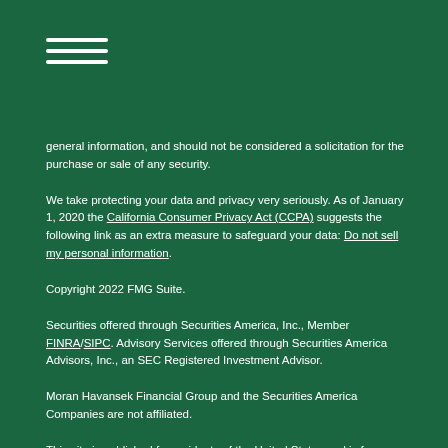[Figure (other): Hamburger menu icon with three horizontal white lines on dark green background]
general information, and should not be considered a solicitation for the purchase or sale of any security.
We take protecting your data and privacy very seriously. As of January 1, 2020 the California Consumer Privacy Act (CCPA) suggests the following link as an extra measure to safeguard your data: Do not sell my personal information.
Copyright 2022 FMG Suite.
Securities offered through Securities America, Inc., Member FINRA/SIPC. Advisory Services offered through Securities America Advisors, Inc., an SEC Registered Investment Advisor.
Moran Havansek Financial Group and the Securities America Companies are not affiliated.
This site is published for residents of the United States and is for informational purposes only and does not constitute an offer to sell or a solicitation of an offer to buy any security or product that may be referenced herein. Persons mentioned on this website may only offer services and transact business and/or respond to inquiries in states or jurisdictions in which they have been properly registered or are exempt from registration. Not all products and services referenced on this site are available in every state, jurisdiction or from every person listed.